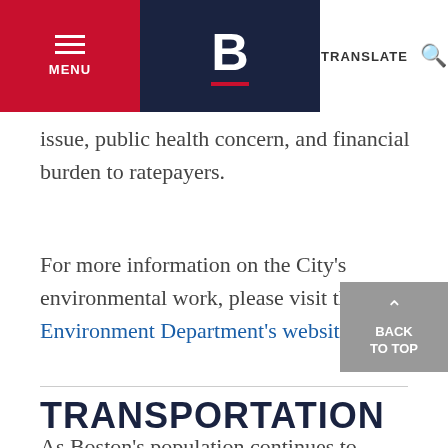MENU | B | TRANSLATE
issue, public health concern, and financial burden to ratepayers.
For more information on the City's environmental work, please visit the Environment Department's website.
TRANSPORTATION
As Boston's population continues to grow,